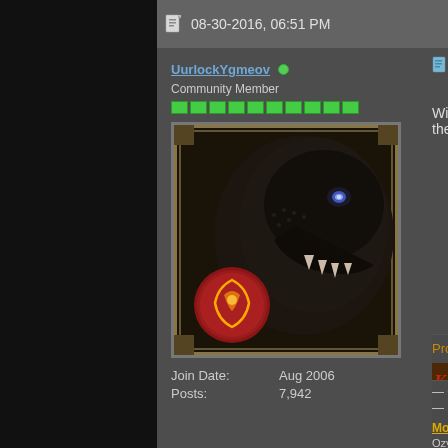08-30-2016, 06:51 PM
UurlockYgmeov
Community Member
[Figure (illustration): Dark dragon/dinosaur creature avatar with glowing eye, fantasy game style, with a red circular emblem in lower left corner]
Join Date: Aug 2006
Posts: 7,942
[Figure (illustration): Document/post icon (blue notepad icon)]
Will there be a way to excha
Promot
[Figure (illustration): Partial promotional image showing fantasy game art with fire and a dragon claw, text partially visible reading 'Kobo']
— Ch
— D
More Bank Space? Leom
OzyMoropic Ra